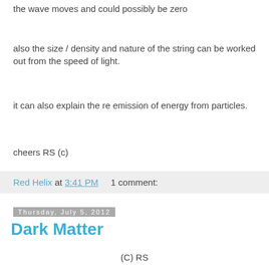the wave moves and could possibly be zero
also the size / density and nature of the string can be worked out from the speed of light.
it can also explain the re emission of energy from particles.
cheers RS (c)
Red Helix at 3:41 PM    1 comment:
Thursday, July 5, 2012
Dark Matter
(C) RS